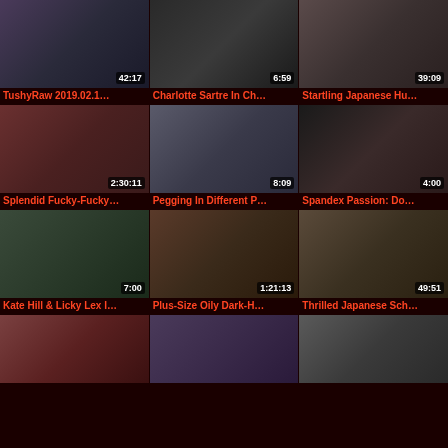[Figure (screenshot): Video thumbnail grid row 1: three adult video thumbnails with durations 42:17, 6:59, 39:09]
TushyRaw 2019.02.1…  Charlotte Sartre In Ch…  Startling Japanese Hu…
[Figure (screenshot): Video thumbnail grid row 2: three adult video thumbnails with durations 2:30:11, 8:09, 4:00]
Splendid Fucky-Fucky…  Pegging In Different P…  Spandex Passion: Do…
[Figure (screenshot): Video thumbnail grid row 3: three adult video thumbnails with durations 7:00, 1:21:13, 49:51]
Kate Hill & Licky Lex I…  Plus-Size Oily Dark-H…  Thrilled Japanese Sch…
[Figure (screenshot): Video thumbnail grid row 4: three adult video thumbnails partially visible at bottom of page]